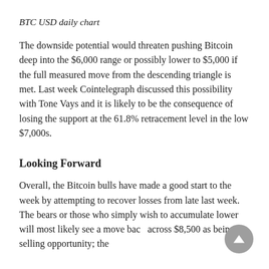BTC USD daily chart
The downside potential would threaten pushing Bitcoin deep into the $6,000 range or possibly lower to $5,000 if the full measured move from the descending triangle is met. Last week Cointelegraph discussed this possibility with Tone Vays and it is likely to be the consequence of losing the support at the 61.8% retracement level in the low $7,000s.
Looking Forward
Overall, the Bitcoin bulls have made a good start to the week by attempting to recover losses from late last week. The bears or those who simply wish to accumulate lower will most likely see a move back across $8,500 as being a selling opportunity; the